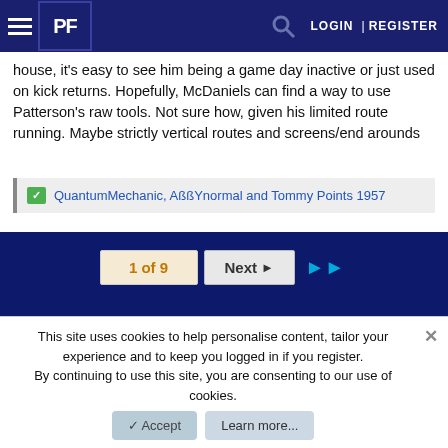PF | LOGIN | REGISTER
house, it's easy to see him being a game day inactive or just used on kick returns. Hopefully, McDaniels can find a way to use Patterson's raw tools. Not sure how, given his limited route running. Maybe strictly vertical routes and screens/end arounds
QuantumMechanic, AßßYnormal and Tommy Points 1957
1 of 9 | Next ▶ | ▶▶
This site uses cookies to help personalise content, tailor your experience and to keep you logged in if you register. By continuing to use this site, you are consenting to our use of cookies.
Accept | Learn more...